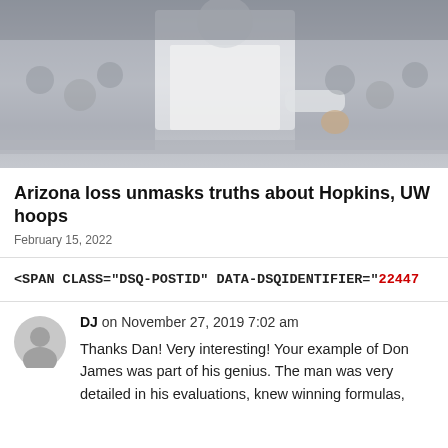[Figure (photo): Photograph of a basketball coach or person in white shirt at a sports venue with crowd in background, shown in muted/faded tones]
Arizona loss unmasks truths about Hopkins, UW hoops
February 15, 2022
<SPAN CLASS="DSQ-POSTID" DATA-DSQIDENTIFIER="22447...
DJ on November 27, 2019 7:02 am
Thanks Dan! Very interesting! Your example of Don James was part of his genius. The man was very detailed in his evaluations, knew winning formulas,